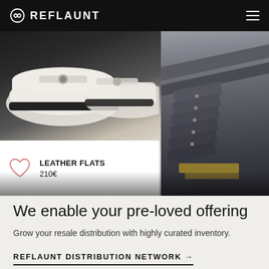REFLAUNT
[Figure (photo): Hero image showing white leather loafers/flats on the left with a product card overlay showing 'LEATHER FLATS 210€', and on the right dark grey studded/textured fashion accessories arranged on shelves]
We enable your pre-loved offering
Grow your resale distribution with highly curated inventory.
REFLAUNT DISTRIBUTION NETWORK →